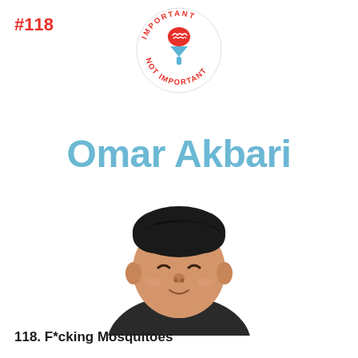#118
[Figure (logo): Important Not Important podcast logo — circular badge with red text reading 'IMPORTANT NOT IMPORTANT' around a brain/funnel icon in red and blue]
Omar Akbari
[Figure (illustration): 3D cartoon avatar of a man with black hair, tan skin, closed smiling eyes, small nose, and wearing a dark/black shirt — rendered in a friendly 3D style]
118. F*cking Mosquitoes